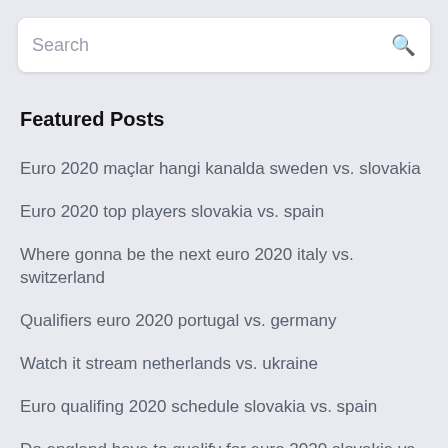Search
Featured Posts
Euro 2020 maçlar hangi kanalda sweden vs. slovakia
Euro 2020 top players slovakia vs. spain
Where gonna be the next euro 2020 italy vs. switzerland
Qualifiers euro 2020 portugal vs. germany
Watch it stream netherlands vs. ukraine
Euro qualifing 2020 schedule slovakia vs. spain
Do england have to qualify for euro 2020 slovakia vs. spain